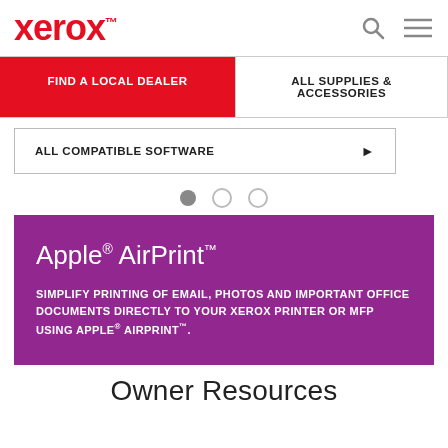xerox™
FIND A LOCAL DEALER
ALL SUPPLIES & ACCESSORIES
ALL COMPATIBLE SOFTWARE ▶
[Figure (infographic): Three pagination dots: one filled grey, two empty circles]
Apple® AirPrint™
SIMPLIFY PRINTING OF EMAIL, PHOTOS AND IMPORTANT OFFICE DOCUMENTS DIRECTLY TO YOUR XEROX PRINTER OR MFP USING APPLE® AIRPRINT™.
Owner Resources